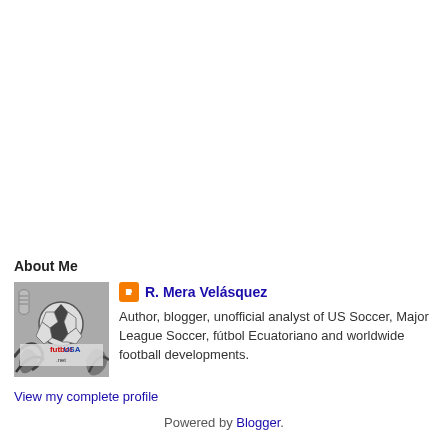About Me
[Figure (photo): Black and white photo/logo for futbolUSA.net blog showing a soccer ball and swirling design with text 'futbolUSA .net']
R. Mera Velásquez
Author, blogger, unofficial analyst of US Soccer, Major League Soccer, fútbol Ecuatoriano and worldwide football developments.
View my complete profile
Powered by Blogger.